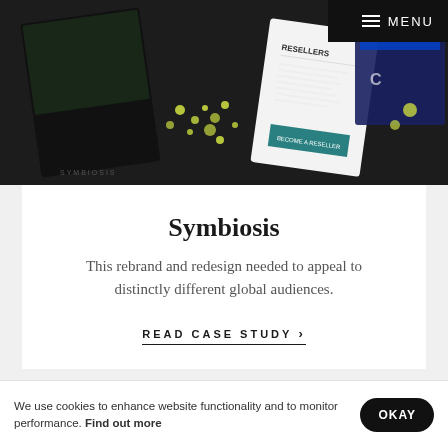[Figure (screenshot): Collage of website screenshots showing Symbiosis brand pages including a dark map visualization with yellow dots, a white resellers page, and blue/teal branded pages]
MENU
Symbiosis
This rebrand and redesign needed to appeal to distinctly different global audiences.
READ CASE STUDY >
[Figure (screenshot): Partial view of mobile devices showing branded materials with teal/green design elements]
We use cookies to enhance website functionality and to monitor performance. Find out more